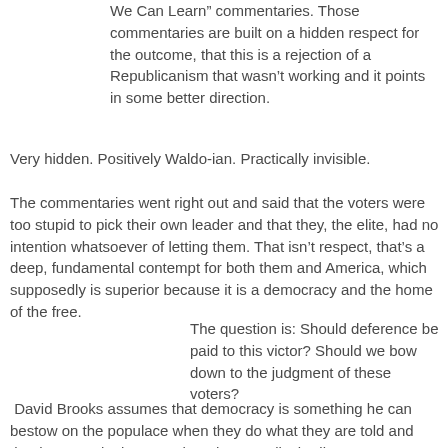We Can Learn” commentaries. Those commentaries are built on a hidden respect for the outcome, that this is a rejection of a Republicanism that wasn’t working and it points in some better direction.
Very hidden. Positively Waldo-ian. Practically invisible.
The commentaries went right out and said that the voters were too stupid to pick their own leader and that they, the elite, had no intention whatsoever of letting them. That isn’t respect, that’s a deep, fundamental contempt for both them and America, which supposedly is superior because it is a democracy and the home of the free.
The question is: Should deference be paid to this victor? Should we bow down to the judgment of these voters?
David Brooks assumes that democracy is something he can bestow on the populace when they do what they are told and that he can take it away when they are disobedient. He